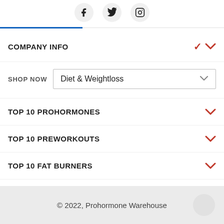[Figure (other): Social media icons: Facebook, Twitter, Instagram in circular gray buttons]
COMPANY INFO
SHOP NOW  Diet & Weightloss
TOP 10 PROHORMONES
TOP 10 PREWORKOUTS
TOP 10 FAT BURNERS
© 2022, Prohormone Warehouse